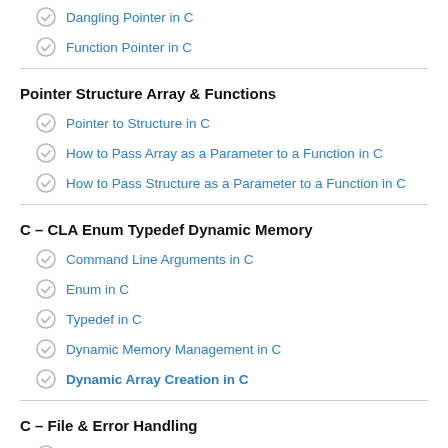Dangling Pointer in C
Function Pointer in C
Pointer Structure Array & Functions
Pointer to Structure in C
How to Pass Array as a Parameter to a Function in C
How to Pass Structure as a Parameter to a Function in C
C – CLA Enum Typedef Dynamic Memory
Command Line Arguments in C
Enum in C
Typedef in C
Dynamic Memory Management in C
Dynamic Array Creation in C
C – File & Error Handling
File Handling in C Language
Error Handling in C
C – Interview